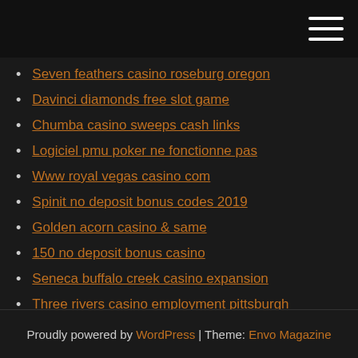Seven feathers casino roseburg oregon
Davinci diamonds free slot game
Chumba casino sweeps cash links
Logiciel pmu poker ne fonctionne pas
Www royal vegas casino com
Spinit no deposit bonus codes 2019
Golden acorn casino & same
150 no deposit bonus casino
Seneca buffalo creek casino expansion
Three rivers casino employment pittsburgh
Nj online casino geolocation spoofing
Proudly powered by WordPress | Theme: Envo Magazine